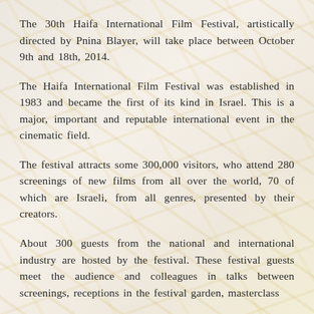The 30th Haifa International Film Festival, artistically directed by Pnina Blayer, will take place between October 9th and 18th, 2014.
The Haifa International Film Festival was established in 1983 and became the first of its kind in Israel. This is a major, important and reputable international event in the cinematic field.
The festival attracts some 300,000 visitors, who attend 280 screenings of new films from all over the world, 70 of which are Israeli, from all genres, presented by their creators.
About 300 guests from the national and international industry are hosted by the festival. These festival guests meet the audience and colleagues in talks between screenings, receptions in the festival garden, masterclass and between artistic directors, and more.